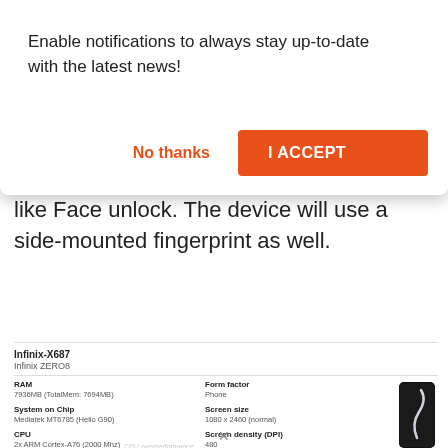Enable notifications to always stay up-to-date with the latest news!
No thanks
I ACCEPT
like Face unlock. The device will use a side-mounted fingerprint as well.
| Infinix-X687 |  |  |
| --- | --- | --- |
| Infinix ZERO8 |  |  |
| RAM | Form factor |  |
| 7936MB (TotalMem: 7694MB) | Phone |  |
| System on Chip | Screen size |  |
| Mediatek MT6785 (Helio G90) | 1080 x 2460 (normal) |  |
| CPU | Screen density (DPI) |  |
| 2x ARM Cortex-A76 (2000 Mhz)
6x ARM Cortex-A55 (2000 Mhz) | 480 |  |
| ABI | SDK |  |
| arm64-v8a | Android 10 (SDK 29) |  |
[Figure (photo): Infinix ZERO8 smartphone with white light curve pattern on dark screen]